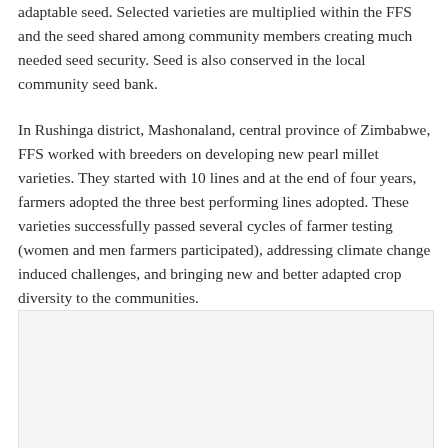adaptable seed. Selected varieties are multiplied within the FFS and the seed shared among community members creating much needed seed security. Seed is also conserved in the local community seed bank.
In Rushinga district, Mashonaland, central province of Zimbabwe, FFS worked with breeders on developing new pearl millet varieties. They started with 10 lines and at the end of four years, farmers adopted the three best performing lines adopted. These varieties successfully passed several cycles of farmer testing (women and men farmers participated), addressing climate change induced challenges, and bringing new and better adapted crop diversity to the communities.
[Figure (photo): Placeholder image area at bottom of page]